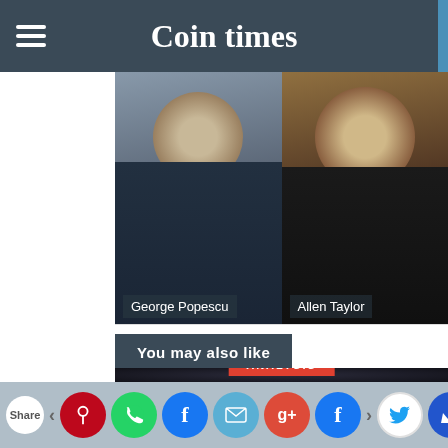Coin times
[Figure (photo): Two headshot photos side by side: left shows George Popescu, right shows Allen Taylor]
You may also like
[Figure (photo): Dark themed image card with ANALYSIS badge and article title: Hugh Austin and Brandon Austin, con artists in numerous law suits?]
Share bar with social media buttons: Share, Pin, WhatsApp, Facebook, Mail, Google+, Facebook, Twitter, Crown